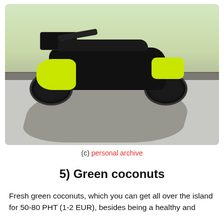[Figure (photo): A black and yellow-green Honda Zoomer-X scooter parked on a concrete sidewalk/road, casting a shadow. Background shows a curb, sandy area, and some greenery with flowers.]
(c) personal archive
5) Green coconuts
Fresh green coconuts, which you can get all over the island for 50-80 PHT (1-2 EUR), besides being a healthy and